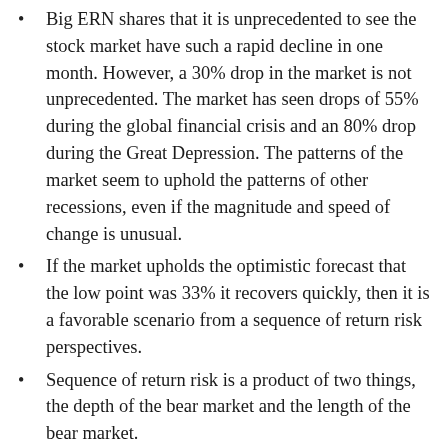Big ERN shares that it is unprecedented to see the stock market have such a rapid decline in one month. However, a 30% drop in the market is not unprecedented. The market has seen drops of 55% during the global financial crisis and an 80% drop during the Great Depression. The patterns of the market seem to uphold the patterns of other recessions, even if the magnitude and speed of change is unusual.
If the market upholds the optimistic forecast that the low point was 33% it recovers quickly, then it is a favorable scenario from a sequence of return risk perspectives.
Sequence of return risk is a product of two things, the depth of the bear market and the length of the bear market.
For those on the path to Financial Independence, this